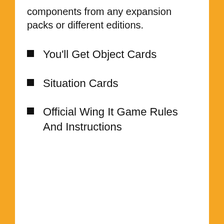components from any expansion packs or different editions.
You'll Get Object Cards
Situation Cards
Official Wing It Game Rules And Instructions
HOW TO WIN